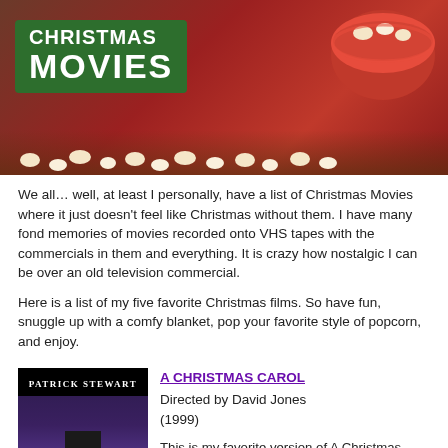[Figure (photo): Hero banner image showing text 'CHRISTMAS MOVIES' on a green background overlay, with a red bowl of popcorn on the right, and popcorn scattered below, on a dark red background.]
We all… well, at least I personally, have a list of Christmas Movies where it just doesn't feel like Christmas without them. I have many fond memories of movies recorded onto VHS tapes with the commercials in them and everything. It is crazy how nostalgic I can be over an old television commercial.
Here is a list of my five favorite Christmas films. So have fun, snuggle up with a comfy blanket, pop your favorite style of popcorn, and enjoy.
[Figure (photo): Movie poster for A Christmas Carol featuring Patrick Stewart in a top hat and long coat, holding a cane, against a purple/blue night sky background.]
A CHRISTMAS CAROL
Directed by David Jones (1999)

This is my favorite version of A Christmas Carol. I love Patrick Stewart, I love the Ghosts, and I love the score. The only thing I like better on any other edition is the